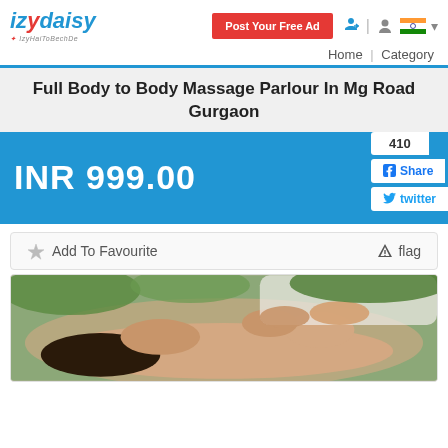izydaisy - Post Your Free Ad | Home | Category
Full Body to Body Massage Parlour In Mg Road Gurgaon
INR 999.00
410 | Share | twitter
Add To Favourite | flag
[Figure (photo): A massage therapist performing a back massage on a person lying face down, with green foliage in the background.]